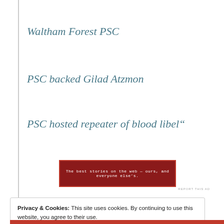Waltham Forest PSC
PSC backed Gilad Atzmon
PSC hosted repeater of blood libel"
[Figure (other): Red advertisement banner with white text: 'The best stories on the web — ours, and everyone else's.']
REPORT THIS AD
Privacy & Cookies: This site uses cookies. By continuing to use this website, you agree to their use.
To find out more, including how to control cookies, see here: Cookie Policy
Close and accept